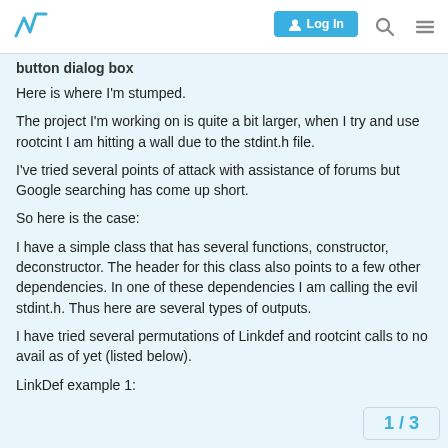Log In [search] [menu]
button dialog box
Here is where I'm stumped.
The project I'm working on is quite a bit larger, when I try and use rootcint I am hitting a wall due to the stdint.h file.
I've tried several points of attack with assistance of forums but Google searching has come up short.
So here is the case:
I have a simple class that has several functions, constructor, deconstructor. The header for this class also points to a few other dependencies. In one of these dependencies I am calling the evil stdint.h. Thus here are several types of outputs.
I have tried several permutations of Linkdef and rootcint calls to no avail as of yet (listed below).
LinkDef example 1:
1 / 3